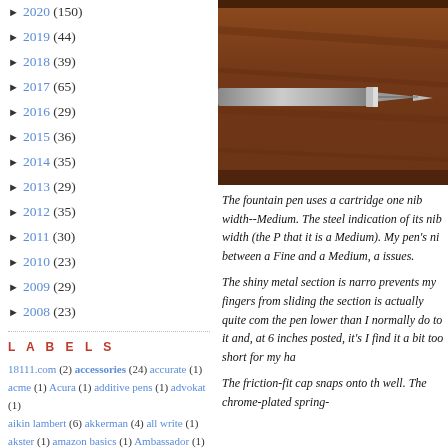► 2020 (150)
► 2019 (44)
► 2018 (39)
► 2017 (65)
► 2016 (29)
► 2015 (36)
► 2014 (35)
► 2013 (29)
► 2012 (35)
► 2011 (30)
► 2010 (23)
► 2009 (29)
► 2008 (23)
LABELS
18111.com (2) accessories (24) accurate (1) acme (1) Acura (1) additive pens (1) advokat (1) aikin lambert (6) akkerman (4) all write (1) akster (1) amazon basics (1) Ambassador (1)
[Figure (photo): Close-up photo of a fountain pen nib resting on a wooden surface, warm brown tones]
The fountain pen uses a cartridge one nib width--Medium. The steel indication of its nib width (the P that it is a Medium). My pen's ni between a Fine and a Medium, a issues.
The shiny metal section is narro prevents my fingers from sliding the section is actually quite com the pen lower than I normally do to it and, at 6 inches posted, it's I find it a bit too short for my ha
The friction-fit cap snaps onto th well. The chrome-plated spring-